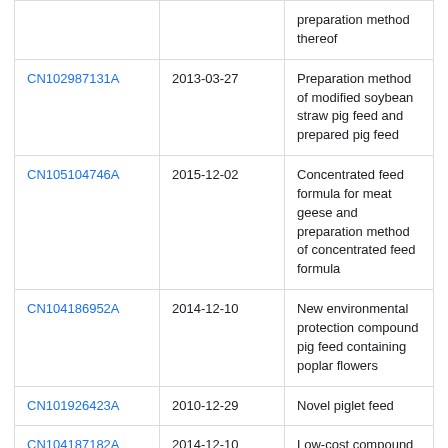| Patent | Date | Title |
| --- | --- | --- |
|  |  | preparation method thereof |
| CN102987131A | 2013-03-27 | Preparation method of modified soybean straw pig feed and prepared pig feed |
| CN105104746A | 2015-12-02 | Concentrated feed formula for meat geese and preparation method of concentrated feed formula |
| CN104186952A | 2014-12-10 | New environmental protection compound pig feed containing poplar flowers |
| CN101926423A | 2010-12-29 | Novel piglet feed |
| CN104187182A | 2014-12-10 | Low-cost compound pig feed |
| CN104489388A | 2015-04-08 | Feed for lean-type pigs |
Priority And Related Applications